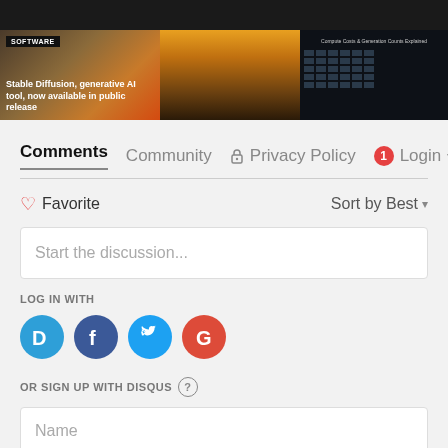[Figure (screenshot): Website screenshot showing a banner with article thumbnails. Left panel shows 'SOFTWARE' tag with article title 'Stable Diffusion, generative AI tool, now available in public release' over a mountain landscape image. Middle panel shows another landscape image. Right panel shows a dark chart titled 'Compute Costs & Generation Counts Explained'.]
Comments   Community   🔒 Privacy Policy   1   Login ▾
♡ Favorite
Sort by Best ▾
Start the discussion...
LOG IN WITH
[Figure (logo): Social login icons: Disqus (D), Facebook (f), Twitter (bird), Google (G)]
OR SIGN UP WITH DISQUS ?
Name